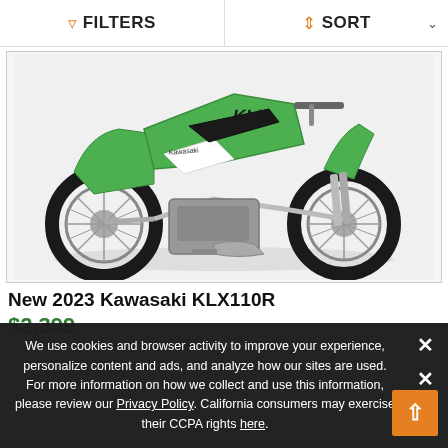FILTERS   SORT
[Figure (photo): Side-view product photo of a green Kawasaki KLX110R dirt bike on a white background]
New 2023 Kawasaki KLX110R
$2,399
We use cookies and browser activity to improve your experience, personalize content and ads, and analyze how our sites are used. For more information on how we collect and use this information, please review our Privacy Policy. California consumers may exercise their CCPA rights here.